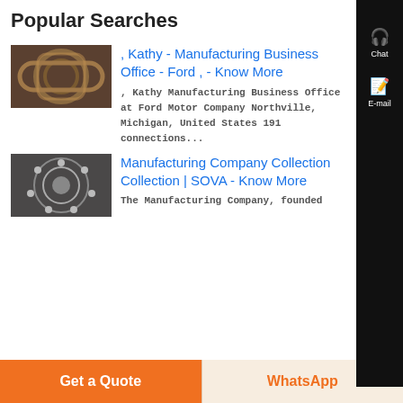Popular Searches
, Kathy - Manufacturing Business Office - Ford , - Know More
, Kathy Manufacturing Business Office at Ford Motor Company Northville, Michigan, United States 191 connections...
Manufacturing Company Collection Collection | SOVA - Know More
The Manufacturing Company, founded
Get a Quote
WhatsApp